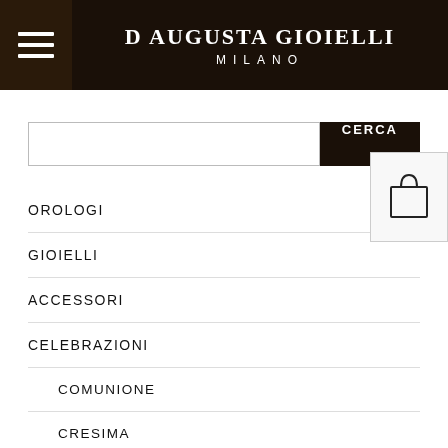D Augusta Gioielli Milano
[Figure (screenshot): Search bar with text input field and black CERCA button]
OROLOGI
GIOIELLI
ACCESSORI
CELEBRAZIONI
COMUNIONE
CRESIMA
FIDANZAMENTO
MATERNITÀ
MATRIMONIO